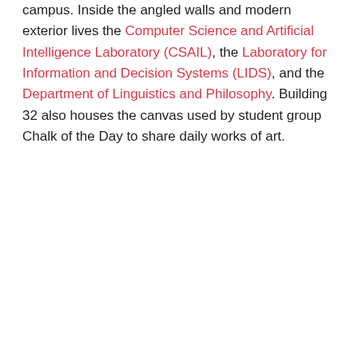campus. Inside the angled walls and modern exterior lives the Computer Science and Artificial Intelligence Laboratory (CSAIL), the Laboratory for Information and Decision Systems (LIDS), and the Department of Linguistics and Philosophy. Building 32 also houses the canvas used by student group Chalk of the Day to share daily works of art.